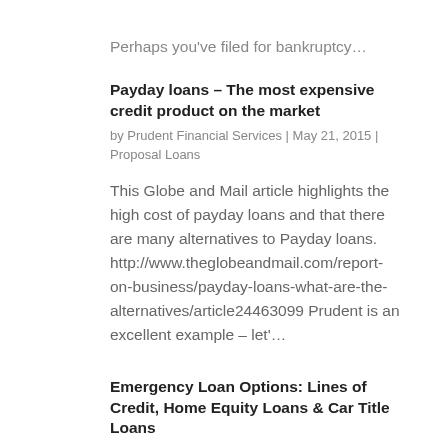Perhaps you've filed for bankruptcy…
Payday loans – The most expensive credit product on the market
by Prudent Financial Services | May 21, 2015 | Proposal Loans
This Globe and Mail article highlights the high cost of payday loans and that there are many alternatives to Payday loans. http://www.theglobeandmail.com/report-on-business/payday-loans-what-are-the-alternatives/article24463099 Prudent is an excellent example – let'…
Emergency Loan Options: Lines of Credit, Home Equity Loans & Car Title Loans
by Prudent Financial Services | Oct 20, 2014 | Bad Credit Borrowing, Bankruptcy Loans, Car Loan Borrowing, Car